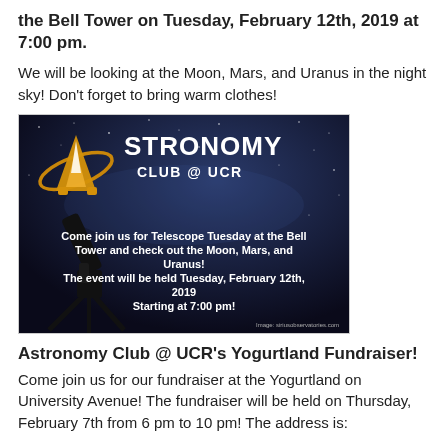the Bell Tower on Tuesday, February 12th, 2019 at 7:00 pm.
We will be looking at the Moon, Mars, and Uranus in the night sky! Don't forget to bring warm clothes!
[Figure (illustration): Astronomy Club @ UCR promotional poster with night sky background showing a telescope silhouette. Text reads: 'Come join us for Telescope Tuesday at the Bell Tower and check out the Moon, Mars, and Uranus! The event will be held Tuesday, February 12th, 2019 Starting at 7:00 pm!' Image credit: siriusobservatories.com]
Astronomy Club @ UCR's Yogurtland Fundraiser!
Come join us for our fundraiser at the Yogurtland on University Avenue! The fundraiser will be held on Thursday, February 7th from 6 pm to 10 pm! The address is: